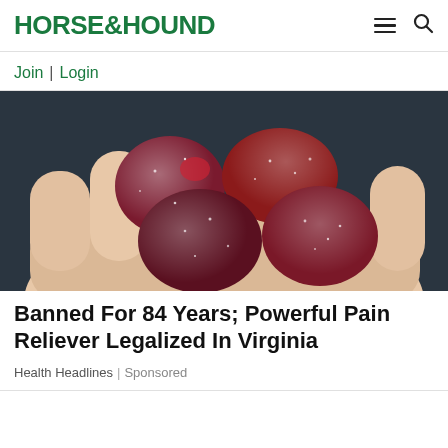HORSE&HOUND
Join | Login
[Figure (photo): A hand holding several dark red sugar-coated gummy candies against a dark background.]
Banned For 84 Years; Powerful Pain Reliever Legalized In Virginia
Health Headlines | Sponsored